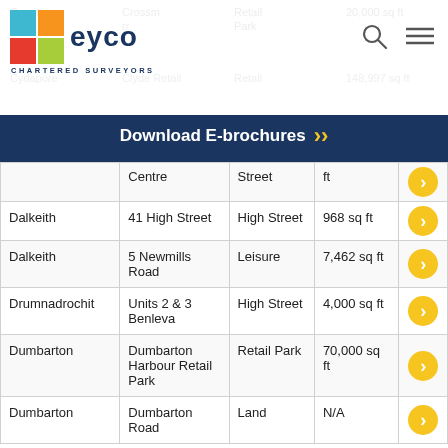[Figure (logo): EYCO Chartered Surveyors logo with colored squares and text]
Download E-brochures
| Location | Property | Type | Size |  |
| --- | --- | --- | --- | --- |
|  | Centre | Street | ft |  |
| Dalkeith | 41 High Street | High Street | 968 sq ft | > |
| Dalkeith | 5 Newmills Road | Leisure | 7,462 sq ft | > |
| Drumnadrochit | Units 2 & 3 Benleva | High Street | 4,000 sq ft | > |
| Dumbarton | Dumbarton Harbour Retail Park | Retail Park | 70,000 sq ft | > |
| Dumbarton | Dumbarton Road | Land | N/A | > |